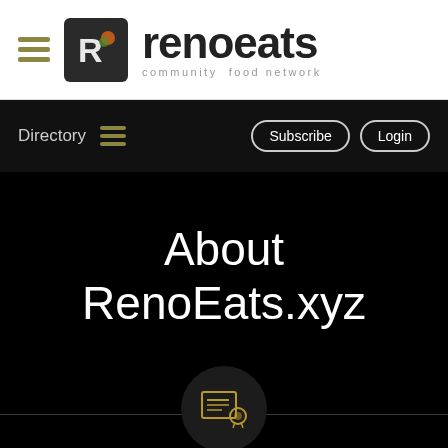[Figure (logo): RenoEats community food network logo with hamburger menu icon, square logo mark, and stylized text 'renoeats' with subtitle 'community food network']
Directory  Subscribe  Login
About RenoEats.xyz
[Figure (illustration): Certificate/document icon inside a dark circle, with a horizontal line across the bottom of the page]